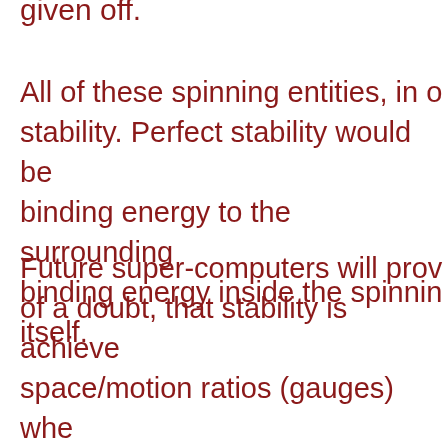given off.
All of these spinning entities, in order to achieve stability. Perfect stability would be binding energy to the surroundings binding energy inside the spinning itself.
Future super-computers will prove, beyond of a doubt, that stability is achieved when space/motion ratios (gauges) when a balancing entity — exists between entities from quarks to super clusters — SIMILAR or NEAR EQUALITY — binding energy with BALANCED surroundings — is of supreme importance.